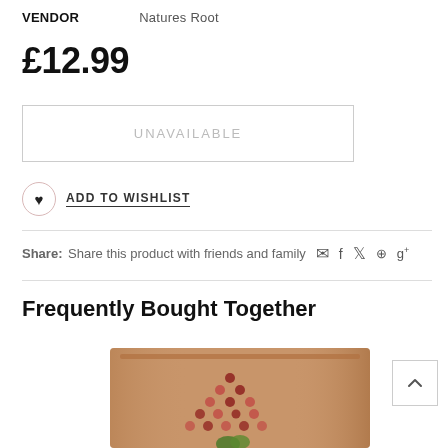VENDOR   Natures Root
£12.99
UNAVAILABLE
ADD TO WISHLIST
Share: Share this product with friends and family
Frequently Bought Together
[Figure (photo): Product photo of a brown kraft paper pouch with dots pattern on it]